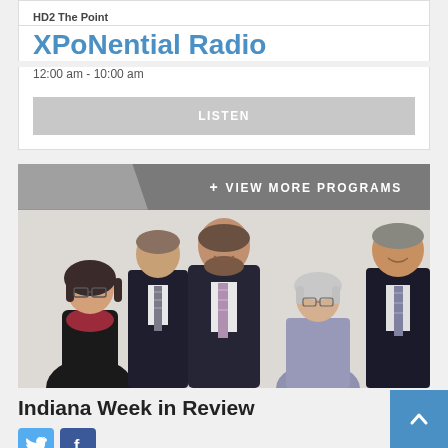HD2 The Point
XPoNential Radio
12:00 am - 10:00 am
LISTEN
+ VIEW MORE PROGRAMS
[Figure (photo): Group photo of five people standing together — one woman on left in dark jacket and red top, one tall man in dark suit with striped tie, one man in center with beard wearing dark suit and striped tie, one older woman in lavender top, and one man on right in dark suit with patterned tie. Light gray background.]
Indiana Week in Review